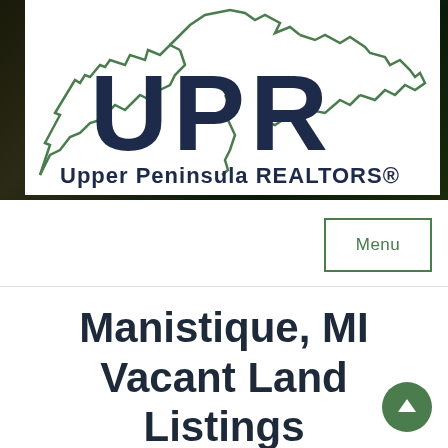[Figure (logo): Upper Peninsula REALTORS (UPR) logo. Shows large dark blue letters 'UPR' with a green outline of the Upper Peninsula of Michigan as a rooftop/house shape above. Below the letters reads 'Upper Peninsula REALTORS®' in dark blue bold font. White background with dark scenic photo visible around edges.]
Menu
Manistique, MI Vacant Land Listings